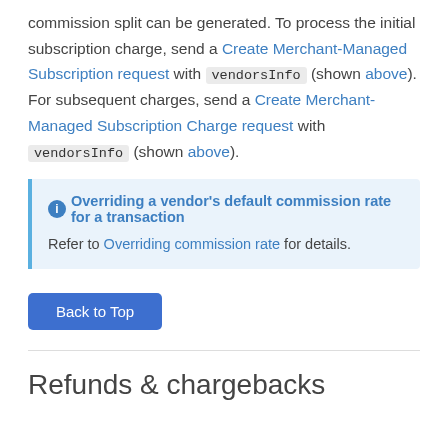commission split can be generated. To process the initial subscription charge, send a Create Merchant-Managed Subscription request with vendorsInfo (shown above). For subsequent charges, send a Create Merchant-Managed Subscription Charge request with vendorsInfo (shown above).
Overriding a vendor's default commission rate for a transaction
Refer to Overriding commission rate for details.
Back to Top
Refunds & chargebacks